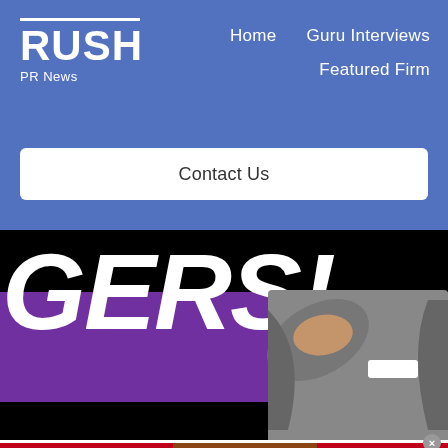RUSH PR News — Navigation: Home | Guru Interviews | Featured Firm | Contact Us
[Figure (screenshot): Partial image showing large bold italic text 'AGERS!' on a black and purple background, with a person in grey suit on the right side]
[Figure (infographic): Red advertisement banner: 'KISS BORING LIPS GOODBYE' with a woman's face showing red lips, 'SHOP NOW' button and Macy's star logo]